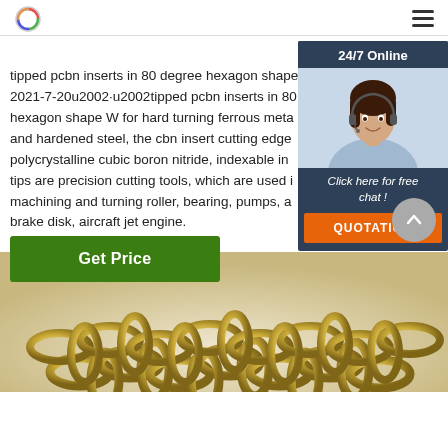[Logo] [Hamburger menu]
tipped pcbn inserts in 80 degree hexagon shape 2021-7-20u2002·u2002tipped pcbn inserts in 80 hexagon shape W for hard turning ferrous meta and hardened steel, the cbn insert cutting edge polycrystalline cubic boron nitride, indexable in tips are precision cutting tools, which are used i machining and turning roller, bearing, pumps, a brake disk, aircraft jet engine.
[Figure (photo): Customer service agent with headset, smiling, with '24/7 Online', 'Click here for free chat!', and 'QUOTATION' button overlay widget in dark blue and orange.]
Get Price
[Figure (photo): Gold/brass metallic chain links pile at the bottom of the page.]